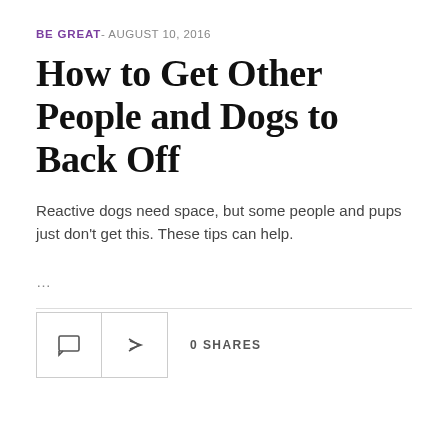BE GREAT- AUGUST 10, 2016
How to Get Other People and Dogs to Back Off
Reactive dogs need space, but some people and pups just don't get this. These tips can help.
…
[Figure (infographic): Comment icon button and share icon button with '0 SHARES' label]